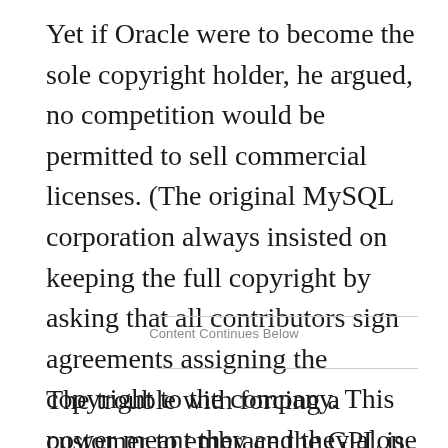Yet if Oracle were to become the sole copyright holder, he argued, no competition would be permitted to sell commercial licenses. (The original MySQL corporation always insisted on keeping the full copyright by asking that all contributors sign agreements assigning the copyright to the company. This power meant they and they alone could sell the chance to ignore the GPL.)
Content Continues Below
The trouble with forcing a customer to embrace the GPL is it's an arguably confusing license, the details of which can grow fairly complex. Some suggest, for